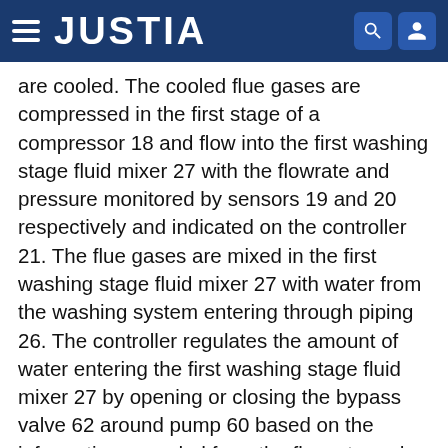JUSTIA
are cooled. The cooled flue gases are compressed in the first stage of a compressor 18 and flow into the first washing stage fluid mixer 27 with the flowrate and pressure monitored by sensors 19 and 20 respectively and indicated on the controller 21. The flue gases are mixed in the first washing stage fluid mixer 27 with water from the washing system entering through piping 26. The controller regulates the amount of water entering the first washing stage fluid mixer 27 by opening or closing the bypass valve 62 around pump 60 based on the information recorded from the flowrate and pressure sensors 19 and 20 of the gases, and on information recorded from flowrate sensor 24 of the water being fed into the first washing stage fluid mixer 27. The water-gas mixture flows out of the first washing stage fluid mixer 27 and into the second washing stage fluid mixer 28 through piping 25. The water-gas mixture